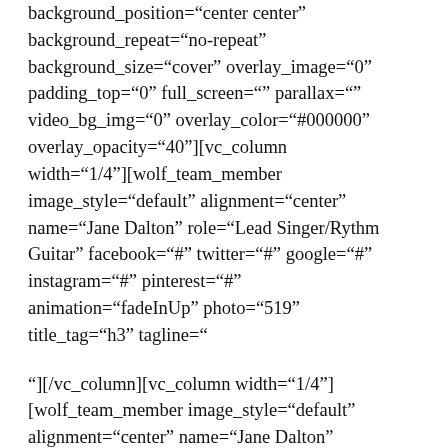background_position="center center" background_repeat="no-repeat" background_size="cover" overlay_image="0" padding_top="0" full_screen="" parallax="" video_bg_img="0" overlay_color="#000000" overlay_opacity="40"][vc_column width="1/4"][wolf_team_member image_style="default" alignment="center" name="Jane Dalton" role="Lead Singer/Rythm Guitar" facebook="#" twitter="#" google="#" instagram="#" pinterest="#" animation="fadeInUp" photo="519" title_tag="h3" tagline="
"][/vc_column][vc_column width="1/4"][wolf_team_member image_style="default" alignment="center" name="Jane Dalton"